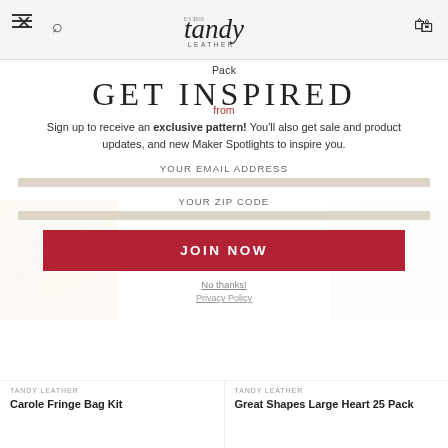Tandy Leather (navigation header with logo, menu, search, and bag icons)
Pack
from
GET INSPIRED
Sign up to receive an exclusive pattern! You'll also get sale and product updates, and new Maker Spotlights to inspire you.
YOUR EMAIL ADDRESS
YOUR ZIP CODE
JOIN NOW
No thanks!
Privacy Policy
TANDY LEATHER
Carole Fringe Bag Kit
TANDY LEATHER
Great Shapes Large Heart 25 Pack